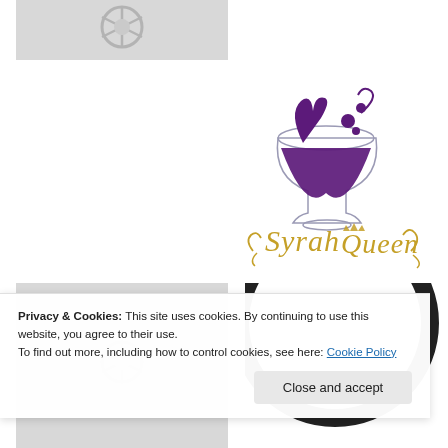[Figure (logo): Gray placeholder image with a circular symbol (possibly Fairtrade or similar emblem) in the top-left area]
[Figure (logo): Syrah Queen wine brand logo featuring a stylized wine glass with purple wine and golden cursive text reading 'Syrah Queen']
[Figure (illustration): Gray placeholder image in the bottom-left]
[Figure (illustration): Partial circular image (black ring/circle) visible in bottom-right]
Privacy & Cookies: This site uses cookies. By continuing to use this website, you agree to their use.
To find out more, including how to control cookies, see here: Cookie Policy
Close and accept